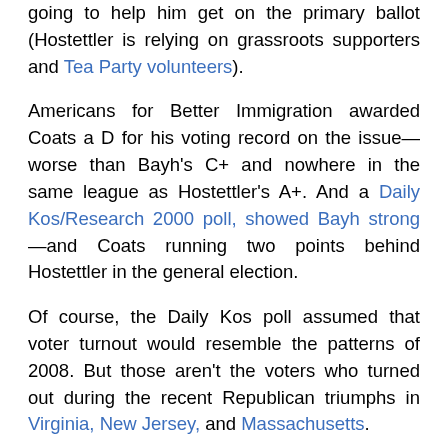going to help him get on the primary ballot (Hostettler is relying on grassroots supporters and Tea Party volunteers).
Americans for Better Immigration awarded Coats a D for his voting record on the issue—worse than Bayh's C+ and nowhere in the same league as Hostettler's A+. And a Daily Kos/Research 2000 poll, showed Bayh strong—and Coats running two points behind Hostettler in the general election.
Of course, the Daily Kos poll assumed that voter turnout would resemble the patterns of 2008. But those aren't the voters who turned out during the recent Republican triumphs in Virginia, New Jersey, and Massachusetts.
Now Evan Bayh himself has seen the handwriting on the wall. Two years ago, Barack Obama carried Indiana. Now Bayh—the biggest name in state